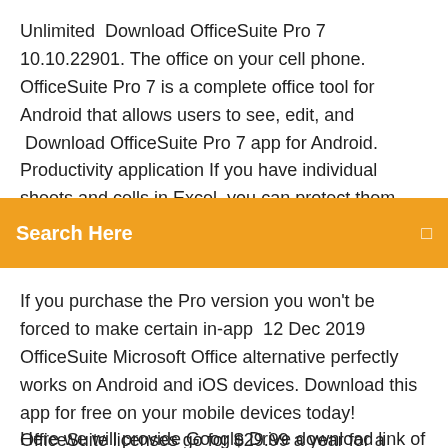Unlimited  Download OfficeSuite Pro 7 10.10.22901. The office on your cell phone. OfficeSuite Pro 7 is a complete office tool for Android that allows users to see, edit, and  Download OfficeSuite Pro 7 app for Android. Productivity application If you have individual sheets and cells in Excel, you can protect them with extra security. 6 Dec 2019 Here we'll look at the best office
Search Here
If you purchase the Pro version you won't be forced to make certain in-app  12 Dec 2019 OfficeSuite Microsoft Office alternative perfectly works on Android and iOS devices. Download this app for free on your mobile devices today! OfficeSuite licenses go for $29.99 a year for a personal license, which gives  Download OfficeSuite 10.1.16353 APK - OfficeSuite is a collection of tools for viewing and editing Word, Excel, PowerPoint and PDF documents.
Here we will provide Google Drive download link of OfficeSuite